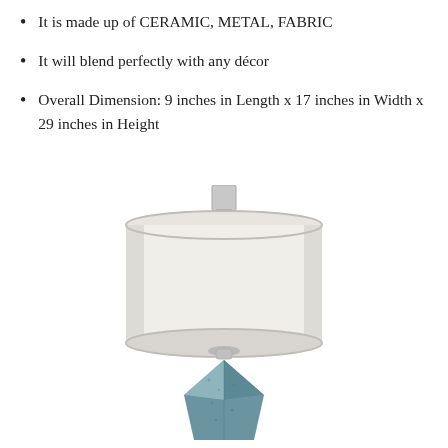It is made up of CERAMIC, METAL, FABRIC
It will blend perfectly with any décor
Overall Dimension: 9 inches in Length x 17 inches in Width x 29 inches in Height
[Figure (photo): A table lamp with a white cylindrical fabric shade and a geometric angular ceramic base in teal/blue-grey color with metallic silver hardware accents.]